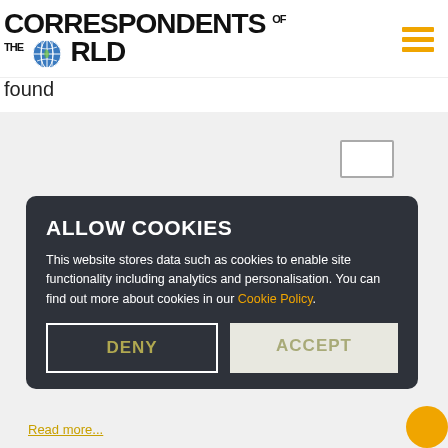CORRESPONDENTS OF THE WORLD
found
[Figure (screenshot): Cookie consent modal overlay on website. Dark rounded box with title 'ALLOW COOKIES', body text about cookies and personalisation with a link to Cookie Policy, and two buttons: DENY and ACCEPT.]
Read more...